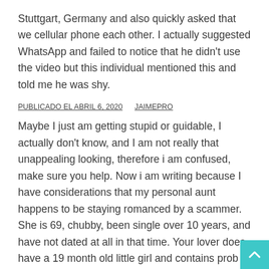Stuttgart, Germany and also quickly asked that we cellular phone each other. I actually suggested WhatsApp and failed to notice that he didn't use the video but this individual mentioned this and told me he was shy.
PUBLICADO EL ABRIL 6, 2020   JAIMEPRO
Maybe I just am getting stupid or guidable, I actually don't know, and I am not really that unappealing looking, therefore i am confused, make sure you help. Now i am writing because I have considerations that my personal aunt happens to be staying romanced by a scammer. She is 69, chubby, been single over 10 years, and have not dated at all in that time. Your lover does have a 19 month old little girl and contains prob pou her period into that. But , the lady started conversing